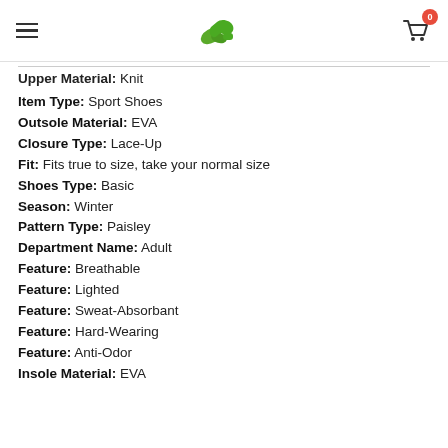Navigation header with hamburger menu, logo, and cart icon (0 items)
Upper Material: Knit
Item Type: Sport Shoes
Outsole Material: EVA
Closure Type: Lace-Up
Fit: Fits true to size, take your normal size
Shoes Type: Basic
Season: Winter
Pattern Type: Paisley
Department Name: Adult
Feature: Breathable
Feature: Lighted
Feature: Sweat-Absorbant
Feature: Hard-Wearing
Feature: Anti-Odor
Insole Material: EVA